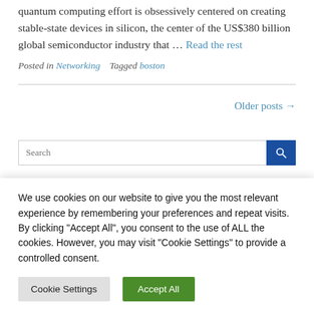quantum computing effort is obsessively centered on creating stable-state devices in silicon, the center of the US$380 billion global semiconductor industry that … Read the rest
Posted in Networking   Tagged boston
Older posts →
[Figure (screenshot): Search bar with blue search button]
We use cookies on our website to give you the most relevant experience by remembering your preferences and repeat visits. By clicking "Accept All", you consent to the use of ALL the cookies. However, you may visit "Cookie Settings" to provide a controlled consent.
Cookie Settings   Accept All